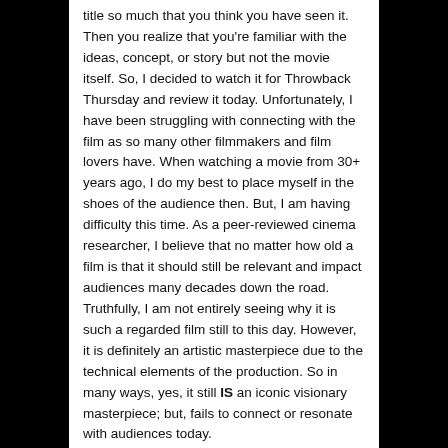title so much that you think you have seen it. Then you realize that you're familiar with the ideas, concept, or story but not the movie itself. So, I decided to watch it for Throwback Thursday and review it today. Unfortunately, I have been struggling with connecting with the film as so many other filmmakers and film lovers have. When watching a movie from 30+ years ago, I do my best to place myself in the shoes of the audience then. But, I am having difficulty this time. As a peer-reviewed cinema researcher, I believe that no matter how old a film is that it should still be relevant and impact audiences many decades down the road. Truthfully, I am not entirely seeing why it is such a regarded film still to this day. However, it is definitely an artistic masterpiece due to the technical elements of the production. So in many ways, yes, it still IS an iconic visionary masterpiece; but, fails to connect or resonate with audiences today.
Travel to a dystopian Los Angeles in the year 2020, or present day Detroit; take your pick. Many have fled the city for colonies on other planets or to the far north of the city to escape the rampant chaos. In the early to